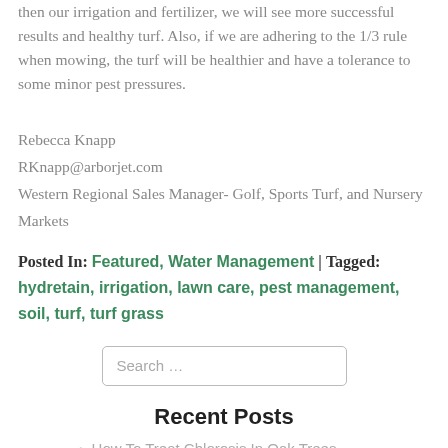then our irrigation and fertilizer, we will see more successful results and healthy turf. Also, if we are adhering to the 1/3 rule when mowing, the turf will be healthier and have a tolerance to some minor pest pressures.
Rebecca Knapp
RKnapp@arborjet.com
Western Regional Sales Manager- Golf, Sports Turf, and Nursery Markets
Posted In: Featured, Water Management | Tagged: hydretain, irrigation, lawn care, pest management, soil, turf, turf grass
Search ...
Recent Posts
How To Treat Chlorosis In Oak Trees